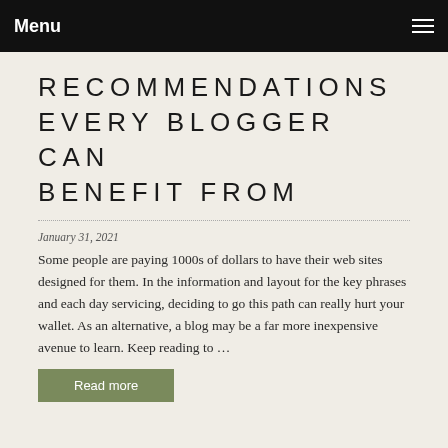Menu
RECOMMENDATIONS EVERY BLOGGER CAN BENEFIT FROM
January 31, 2021
Some people are paying 1000s of dollars to have their web sites designed for them. In the information and layout for the key phrases and each day servicing, deciding to go this path can really hurt your wallet. As an alternative, a blog may be a far more inexpensive avenue to learn. Keep reading to …
Read more